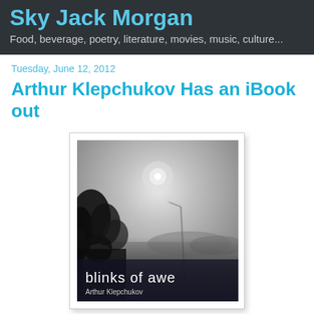Sky Jack Morgan
Food, beverage, poetry, literature, movies, music, culture...
Tuesday, June 12, 2012
Arthur Klepchukov Has an iBook out
[Figure (photo): Book cover of 'blinks of awe' by Arthur Klepchukov. A misty, monochrome photograph showing a foggy landscape with trees on the left and a glowing light source (possibly a streetlamp) in the grey sky. Text at the bottom reads 'blinks of awe' in white, with 'Arthur Klepchukov' below it.]